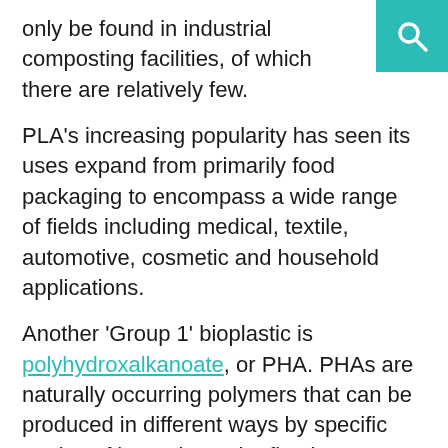only be found in industrial composting facilities, of which there are relatively few.
PLA's increasing popularity has seen its uses expand from primarily food packaging to encompass a wide range of fields including medical, textile, automotive, cosmetic and household applications.
Another 'Group 1' bioplastic is polyhydroxalkanoate, or PHA. PHAs are naturally occurring polymers that can be produced in different ways by specific strains of bacteria. In the first instance, bacteria is exposed to a limited supply of essential